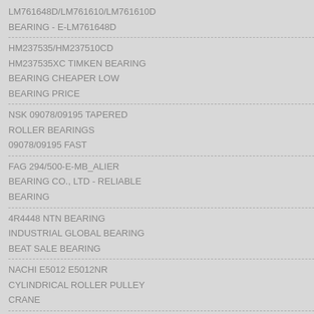LM761648D/LM761610/LM761610D
BEARING - E-LM761648D
HM237535/HM237510CD
HM237535XC TIMKEN BEARING
BEARING CHEAPER LOW BEARING PRICE
NSK 09078/09195 TAPERED ROLLER BEARINGS
09078/09195 FAST
FAG 294/500-E-MB_ALIER
BEARING CO., LTD - RELIABLE BEARING
4R4448 NTN BEARING
INDUSTRIAL GLOBAL BEARING
BEAT SALE BEARING
NACHI E5012 E5012NR
CYLINDRICAL ROLLER PULLEY CRANE
bearing
[Figure (photo): Composite image showing warehouse interior with boxes, a customer service representative with headset, '24/7 Online' badge, 'Enter any requests, click here.' text, and an orange Quotation button. Below this is text 'OUR FACTORY' in dark and red, and a blue banner with 'JINAN KAI' (partially visible) text.]